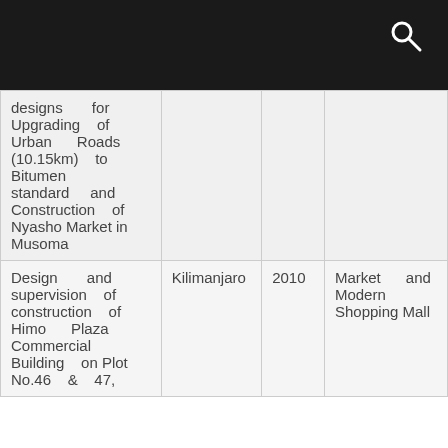| designs for Upgrading of Urban Roads (10.15km) to Bitumen standard and Construction of Nyasho Market in Musoma |  |  |  |
| Design and supervision of construction of Himo Plaza Commercial Building on Plot No.46 & 47, | Kilimanjaro | 2010 | Market and Modern Shopping Mall |